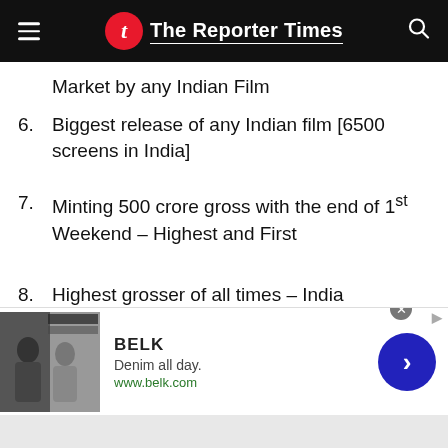The Reporter Times
Market by any Indian Film
6. Biggest release of any Indian film [6500 screens in India]
7. Minting 500 crore gross with the end of 1st Weekend – Highest and First
8. Highest grosser of all times – India
9. Highest Indian film grossing Worldwide
[Figure (other): Advertisement banner for BELK: Denim all day. www.belk.com]